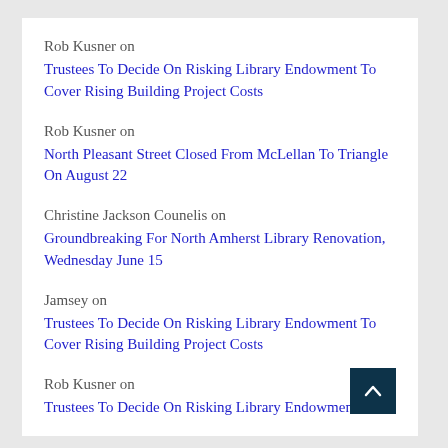Rob Kusner on
Trustees To Decide On Risking Library Endowment To Cover Rising Building Project Costs
Rob Kusner on
North Pleasant Street Closed From McLellan To Triangle On August 22
Christine Jackson Counelis on
Groundbreaking For North Amherst Library Renovation, Wednesday June 15
Jamsey on
Trustees To Decide On Risking Library Endowment To Cover Rising Building Project Costs
Rob Kusner on
Trustees To Decide On Risking Library Endowment To